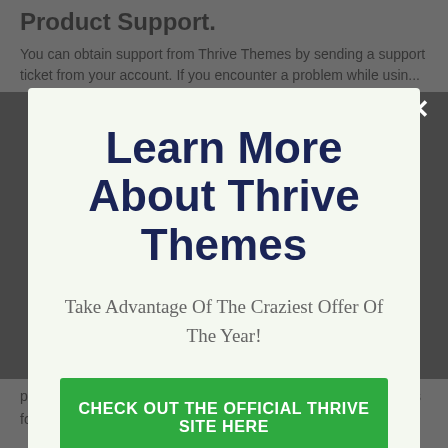Product Support.
You can obtain support from Thrive Themes by sending a support ticket from your account. If you encounter a problem while using Thrive Themes, there's
[Figure (screenshot): Modal popup dialog with title 'Learn More About Thrive Themes', subtitle 'Take Advantage Of The Craziest Offer Of The Year!', a green call-to-action button labeled 'CHECK OUT THE OFFICIAL THRIVE SITE HERE', and a dismiss link 'No thanks, I'm not interested!']
protected by a complete 30-day money-back warranty. This goes for all the Thrive items.